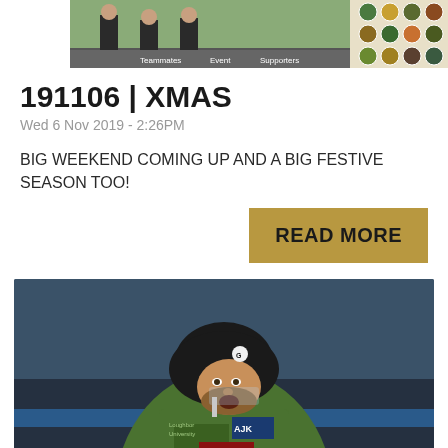[Figure (photo): Top banner image showing people and decorative circular badges/tokens on a light background]
191106 | XMAS
Wed 6 Nov 2019 - 2:26PM
BIG WEEKEND COMING UP AND A BIG FESTIVE SEASON TOO!
[Figure (other): READ MORE button with gold/tan background]
[Figure (photo): Ice hockey player wearing a green jersey with AJK and other sponsor logos, wearing a black helmet with face shield]